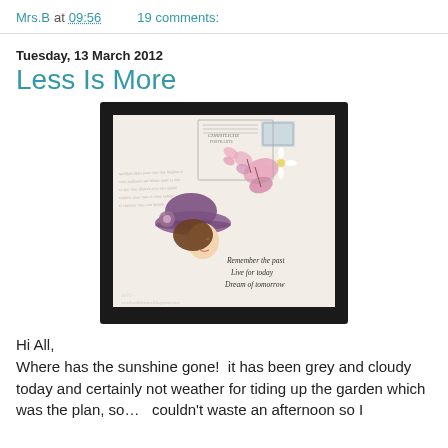Mrs.B at 09:56   19 comments:
Tuesday, 13 March 2012
Less Is More
[Figure (photo): A handmade craft card on white card stock, featuring a vintage illustration of a woman in a wide-brimmed purple hat with pink butterflies and flowers, overlaid on a postcard-style background with cursive script. Text on card reads: 'Remember the past / Live for today / Dream of tomorrow'. Watermark: 'Avril - mrsbsaddiction.blogspot.com']
Hi All,
Where has the sunshine gone!  it has been grey and cloudy today and certainly not weather for tiding up the garden which was the plan, so…  couldn't waste an afternoon so I